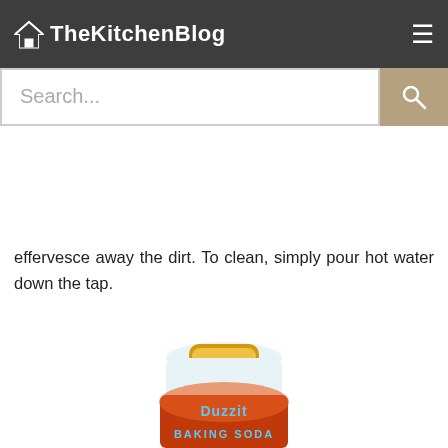TheKitchenBlog
g soda cup of er cap ance to effervesce away the dirt. To clean, simply pour hot water down the tap.
[Figure (photo): A bottle of Duzzit Amazing Baking Soda multipurpose cleaning product with orange and white label]